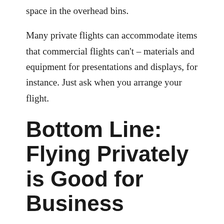space in the overhead bins.
Many private flights can accommodate items that commercial flights can't – materials and equipment for presentations and displays, for instance. Just ask when you arrange your flight.
Bottom Line: Flying Privately is Good for Business
With all the advantages of private air travel, it's no surprise that more and more businesses are steering away from commercial flights. Ten times as many possible destinations and vastly better scheduling and flexibility add up to far better reach and efficiency